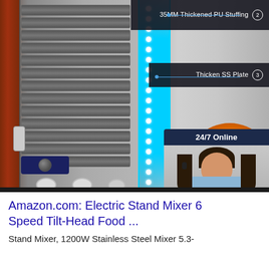[Figure (photo): Product image of an industrial food warming/drying cart with stainless steel construction, blue LED strip lighting, multiple trays visible on the left, annotated with labels: '35MM Thickened PU Stuffing ②' and 'Thicken SS Plate ③'. Overlay shows a 24/7 Online customer service widget with a photo of a smiling woman with headset, 'Click here for free chat!' text, and an orange 'QUOTATION' button. Also shows '8 Hours W...' text and a warm glow from an internal heat element.]
Amazon.com: Electric Stand Mixer 6 Speed Tilt-Head Food ...
Stand Mixer, 1200W Stainless Steel Mixer 5.3-